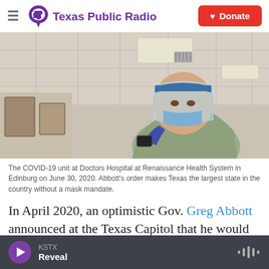Texas Public Radio | Donate
[Figure (photo): A healthcare worker in full PPE including face shield, mask, and gown at the COVID-19 unit at Doctors Hospital at Renaissance Health System in Edinburg, on June 30, 2020.]
The COVID-19 unit at Doctors Hospital at Renaissance Health System in Edinburg on June 30, 2020. Abbott's order makes Texas the largest state in the country without a mask mandate.
In April 2020, an optimistic Gov. Greg Abbott announced at the Texas Capitol that he would soon
KSTX Reveal